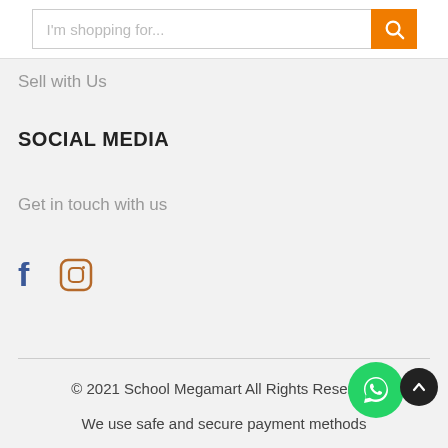[Figure (screenshot): Search bar with placeholder text 'I'm shopping for...' and orange search button with magnifying glass icon]
Sell with Us
SOCIAL MEDIA
Get in touch with us
[Figure (other): Facebook icon (blue 'f') and Instagram icon (brown camera icon)]
© 2021 School Megamart All Rights Reserved
We use safe and secure payment methods